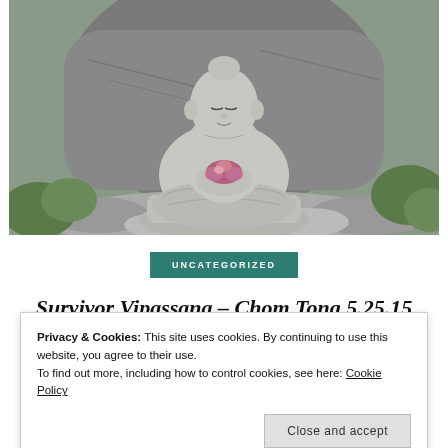[Figure (photo): Stone Buddha statue in meditation pose, holding pink flowers, seated on a lotus base against a rock backdrop with greenery around.]
UNCATEGORIZED
Survivor Vipassana – Chom Tong 5.25.15
Privacy & Cookies: This site uses cookies. By continuing to use this website, you agree to their use.
To find out more, including how to control cookies, see here: Cookie Policy
Close and accept